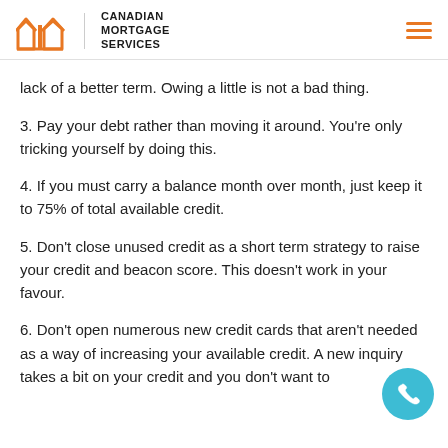Canadian Mortgage Services
lack of a better term. Owing a little is not a bad thing.
3. Pay your debt rather than moving it around. You're only tricking yourself by doing this.
4. If you must carry a balance month over month, just keep it to 75% of total available credit.
5. Don't close unused credit as a short term strategy to raise your credit and beacon score. This doesn't work in your favour.
6. Don't open numerous new credit cards that aren't needed as a way of increasing your available credit. A new inquiry takes a bit on your credit and you don't want to